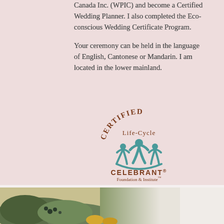Canada Inc. (WPIC) and become a Certified Wedding Planner. I also completed the Eco-conscious Wedding Certificate Program.
Your ceremony can be held in the language of English, Cantonese or Mandarin. I am located in the lower mainland.
[Figure (logo): Certified Life-Cycle Celebrant Foundation & Institute logo featuring teal human figures in a circle with text arched above and below]
[Figure (photo): Bottom portion of a photo showing green floral bouquet with eucalyptus and berries on a light background with white lace visible on the right]